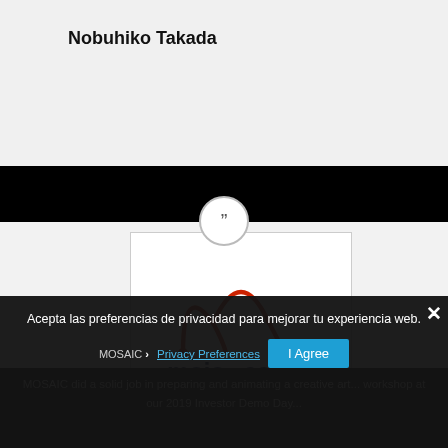Nobuhiko Takada
[Figure (logo): Mojo Capital logo — red arc/wave graphic above the text 'mojo capital' in dark navy bold font]
Acepta las preferencias de privacidad para mejorar tu experiencia web.
MOSAIC › Privacy Preferences ... I Agree
MOSAIC did a solid job in preparing and animating a creative art... workshop at our 2019 Investor Demo Day...